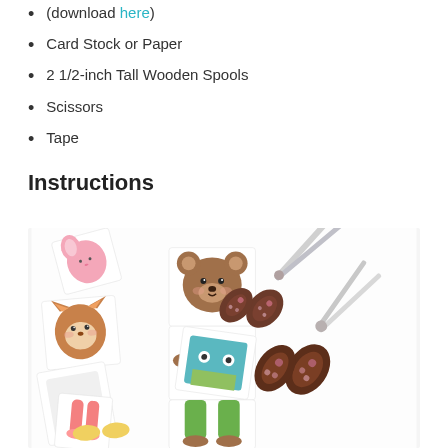(download here)
Card Stock or Paper
2 1/2-inch Tall Wooden Spools
Scissors
Tape
Instructions
[Figure (photo): Craft activity photo showing cut-out animal character cards (bear, fox, bunny) with body part pieces scattered on a white surface, alongside decorative scissors with brown handles and floral pattern.]